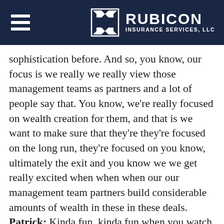Rubicon Insurance Services, LLC
sophistication before. And so, you know, our focus is we really we really view those management teams as partners and a lot of people say that. You know, we're really focused on wealth creation for them, and that is we want to make sure that they're they're focused on the long run, they're focused on you know, ultimately the exit and you know we we get really excited when when when our our management team partners build considerable amounts of wealth in these in these deals. Patrick: Kinda fun, kinda fun when you watch that. The, it ensures just everybody everybody's interests are aligned and what why wouldn't that be. Because I'm personally have an abundance